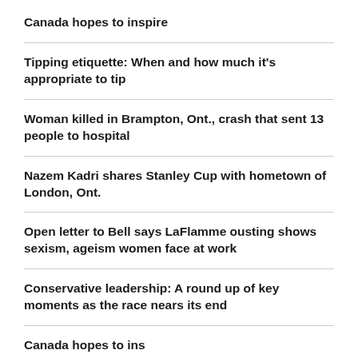Canada hopes to inspire
Tipping etiquette: When and how much it's appropriate to tip
Woman killed in Brampton, Ont., crash that sent 13 people to hospital
Nazem Kadri shares Stanley Cup with hometown of London, Ont.
Open letter to Bell says LaFlamme ousting shows sexism, ageism women face at work
Conservative leadership: A round up of key moments as the race nears its end
Canada hopes to inspire (partial)